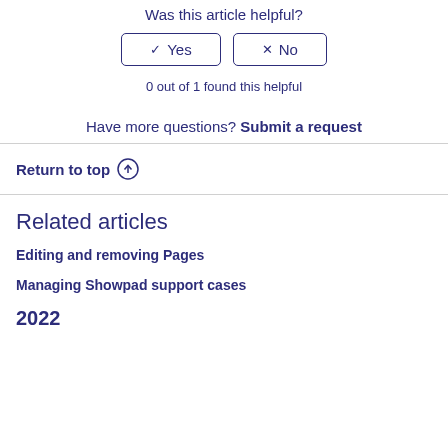Was this article helpful?
0 out of 1 found this helpful
Have more questions? Submit a request
Return to top
Related articles
Editing and removing Pages
Managing Showpad support cases
2022